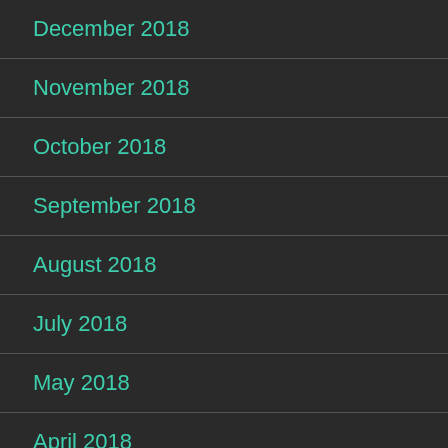December 2018
November 2018
October 2018
September 2018
August 2018
July 2018
May 2018
April 2018